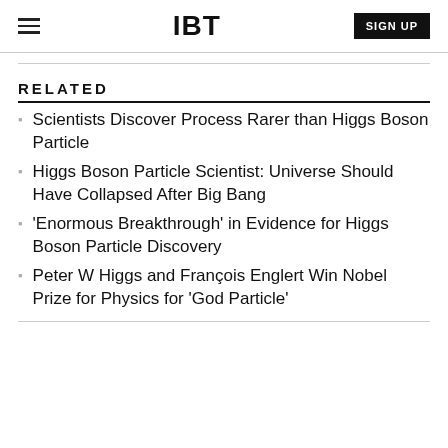IBT | SIGN UP
RELATED
Scientists Discover Process Rarer than Higgs Boson Particle
Higgs Boson Particle Scientist: Universe Should Have Collapsed After Big Bang
'Enormous Breakthrough' in Evidence for Higgs Boson Particle Discovery
Peter W Higgs and François Englert Win Nobel Prize for Physics for 'God Particle'